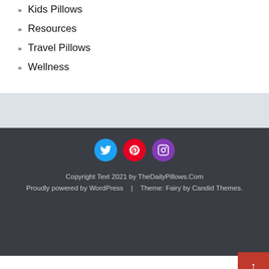Kids Pillows
Resources
Travel Pillows
Wellness
[Figure (infographic): Social media icons: Twitter (blue circle), Pinterest (red circle), Instagram (purple circle)]
Copyright Text 2021 by TheDailyPillows.Com
Proudly powered by WordPress    |    Theme: Fairy by Candid Themes.
[Figure (infographic): Social share bar with icons: Facebook, Twitter, Reddit, LinkedIn, Pinterest, MeWe, Mix, WhatsApp, More]